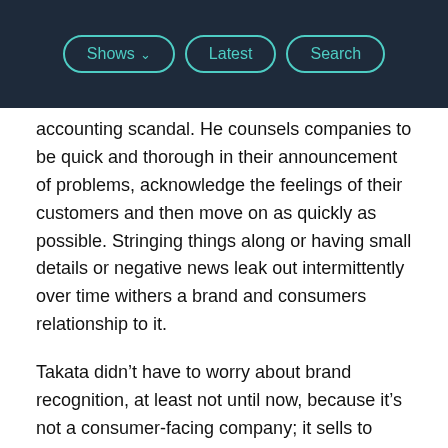Shows | Latest | Search
accounting scandal. He counsels companies to be quick and thorough in their announcement of problems, acknowledge the feelings of their customers and then move on as quickly as possible. Stringing things along or having small details or negative news leak out intermittently over time withers a brand and consumers relationship to it.
Takata didn't have to worry about brand recognition, at least not until now, because it's not a consumer-facing company; it sells to auto manufacturers.
“For a company that’s primarily a business to business, one of their worst nightmares is their name becoming known to consumers in a negative way, because normally